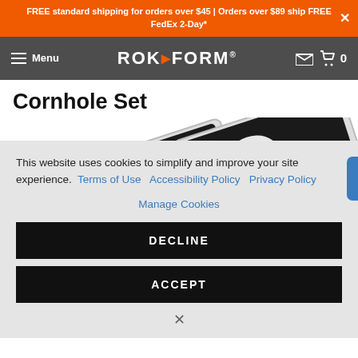FREE standard shipping for orders over $45 | Orders over $89 ship FREE FedEx 2-Day*
Menu | ROK FORM | 0
Cornhole Set
[Figure (photo): Two black cornhole boards with white oval holes and white/silver frames, shown at an angle]
This website uses cookies to simplify and improve your site experience. Terms of Use  Accessibility Policy  Privacy Policy
Manage Cookies
DECLINE
ACCEPT